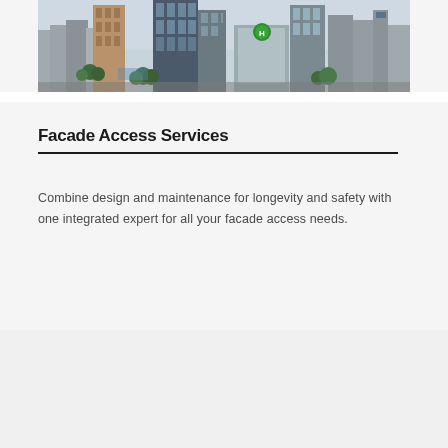[Figure (photo): Aerial view of a dense urban cityscape with skyscrapers, office buildings, green trees, streets, and a helipad visible on one of the rooftops.]
Facade Access Services
Combine design and maintenance for longevity and safety with one integrated expert for all your facade access needs.